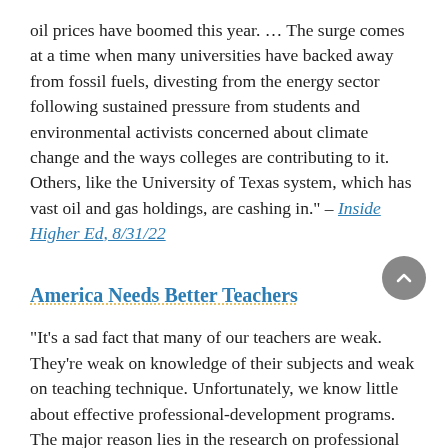oil prices have boomed this year. … The surge comes at a time when many universities have backed away from fossil fuels, divesting from the energy sector following sustained pressure from students and environmental activists concerned about climate change and the ways colleges are contributing to it. Others, like the University of Texas system, which has vast oil and gas holdings, are cashing in." – Inside Higher Ed, 8/31/22
America Needs Better Teachers
"It's a sad fact that many of our teachers are weak. They're weak on knowledge of their subjects and weak on teaching technique. Unfortunately, we know little about effective professional-development programs. The major reason lies in the research on professional development itself. A major review, in 2008, of the research on professional development for teachers of